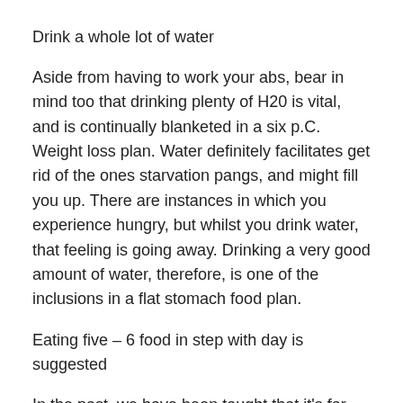Drink a whole lot of water
Aside from having to work your abs, bear in mind too that drinking plenty of H20 is vital, and is continually blanketed in a six p.C. Weight loss plan. Water definitely facilitates get rid of the ones starvation pangs, and might fill you up. There are instances in which you experience hungry, but whilst you drink water, that feeling is going away. Drinking a very good amount of water, therefore, is one of the inclusions in a flat stomach food plan.
Eating five – 6 food in step with day is suggested
In the past, we have been taught that it's far critical to eat three meals in an afternoon: breakfast, lunch, and dinner. Nowadays, however, if you need to be healthier and if you want to get 6 p.C. Abs, you must eat extra than